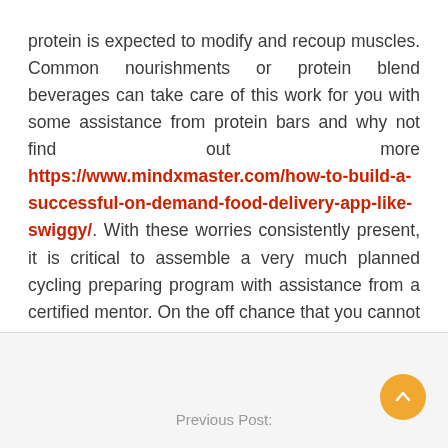protein is expected to modify and recoup muscles. Common nourishments or protein blend beverages can take care of this work for you with some assistance from protein bars and why not find out more https://www.mindxmaster.com/how-to-build-a-successful-on-demand-food-delivery-app-like-swiggy/. With these worries consistently present, it is critical to assemble a very much planned cycling preparing program with assistance from a certified mentor. On the off chance that you cannot get to individuals of that level, there are bunches of master projects, books and DVDs discounted to lead you on the correct way
Previous Post: